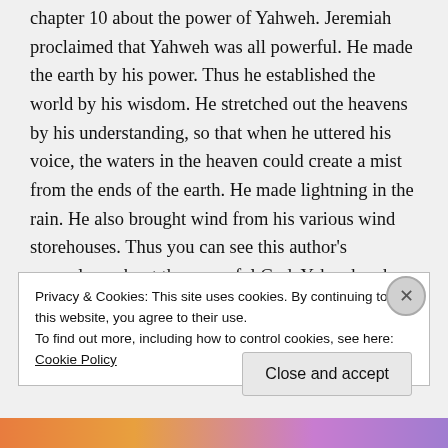chapter 10 about the power of Yahweh. Jeremiah proclaimed that Yahweh was all powerful. He made the earth by his power. Thus he established the world by his wisdom. He stretched out the heavens by his understanding, so that when he uttered his voice, the waters in the heaven could create a mist from the ends of the earth. He made lightning in the rain. He also brought wind from his various wind storehouses. Thus you can see this author's cosmology about the powerful God, Yahweh, who
Privacy & Cookies: This site uses cookies. By continuing to use this website, you agree to their use.
To find out more, including how to control cookies, see here: Cookie Policy
Close and accept